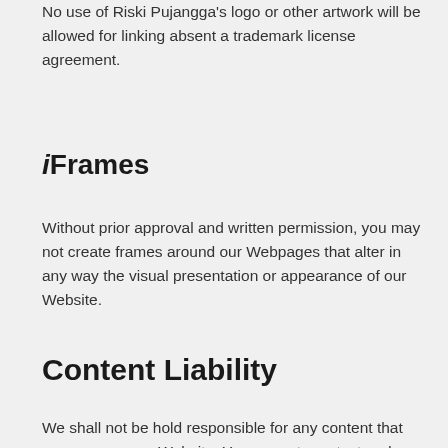No use of Riski Pujangga's logo or other artwork will be allowed for linking absent a trademark license agreement.
iFrames
Without prior approval and written permission, you may not create frames around our Webpages that alter in any way the visual presentation or appearance of our Website.
Content Liability
We shall not be hold responsible for any content that appears on your Website. You agree to protect and defend us against all claims that is rising on your Website. No link(s) should appear on any Website that may be interpreted as libelous, obscene or criminal, or which infringes, otherwise